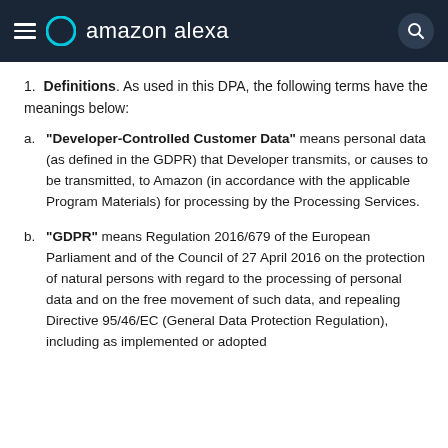amazon alexa
Definitions. As used in this DPA, the following terms have the meanings below:
"Developer-Controlled Customer Data" means personal data (as defined in the GDPR) that Developer transmits, or causes to be transmitted, to Amazon (in accordance with the applicable Program Materials) for processing by the Processing Services.
"GDPR" means Regulation 2016/679 of the European Parliament and of the Council of 27 April 2016 on the protection of natural persons with regard to the processing of personal data and on the free movement of such data, and repealing Directive 95/46/EC (General Data Protection Regulation), including as implemented or adopted